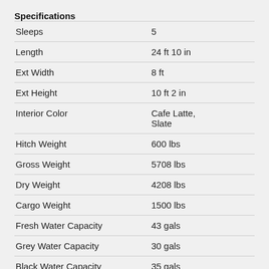Specifications
| Specification | Value |
| --- | --- |
| Sleeps | 5 |
| Length | 24 ft 10 in |
| Ext Width | 8 ft |
| Ext Height | 10 ft 2 in |
| Interior Color | Cafe Latte, Slate |
| Hitch Weight | 600 lbs |
| Gross Weight | 5708 lbs |
| Dry Weight | 4208 lbs |
| Cargo Weight | 1500 lbs |
| Fresh Water Capacity | 43 gals |
| Grey Water Capacity | 30 gals |
| Black Water Capacity | 35 gals |